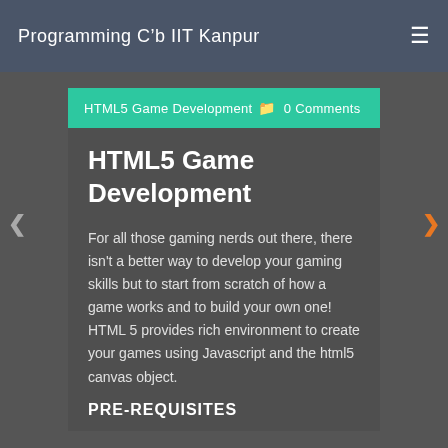Programming Club IIT Kanpur
HTML5 Game Development 🗁 0 Comments
HTML5 Game Development
For all those gaming nerds out there, there isn't a better way to develop your gaming skills but to start from scratch of how a game works and to build your own one! HTML 5 provides rich environment to create your games using Javascript and the html5 canvas object.
PRE-REQUISITES